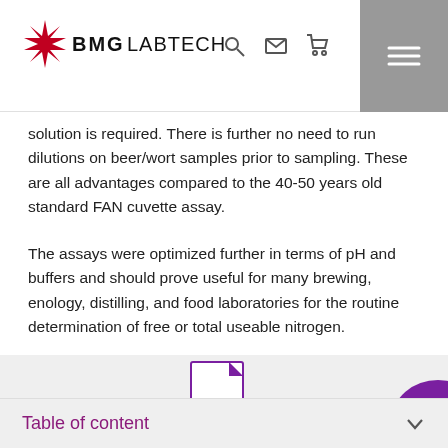BMG LABTECH
solution is required. There is further no need to run dilutions on beer/wort samples prior to sampling. These are all advantages compared to the 40-50 years old standard FAN cuvette assay.
The assays were optimized further in terms of pH and buffers and should prove useful for many brewing, enology, distilling, and food laboratories for the routine determination of free or total useable nitrogen.
[Figure (illustration): PDF file icon with purple folded corner and 'PDF' label in purple text]
[Figure (illustration): Purple circular chat/message bubble icon with three dots]
Table of content